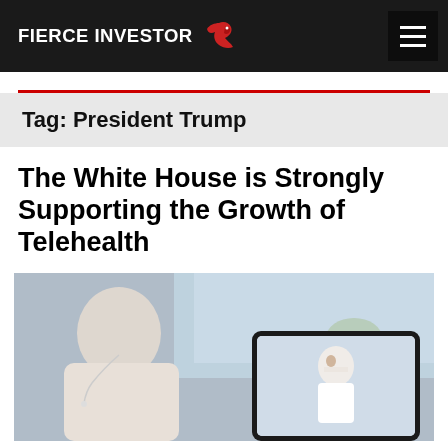FIERCE INVESTOR
Tag: President Trump
The White House is Strongly Supporting the Growth of Telehealth
[Figure (photo): Person viewed from behind wearing earbuds, looking at a tablet showing a video call with a doctor in a white coat]